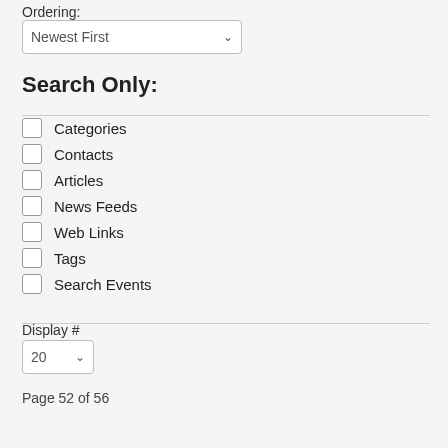Ordering:
Newest First
Search Only:
Categories
Contacts
Articles
News Feeds
Web Links
Tags
Search Events
Display #
20
Page 52 of 56